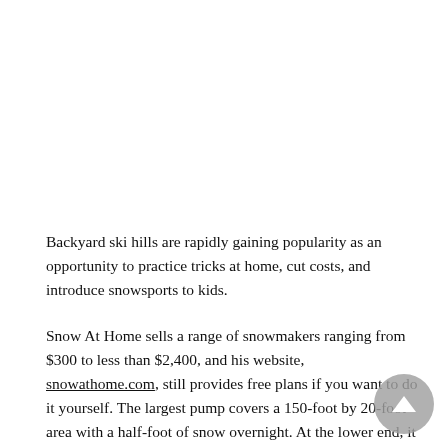Backyard ski hills are rapidly gaining popularity as an opportunity to practice tricks at home, cut costs, and introduce snowsports to kids.
Snow At Home sells a range of snowmakers ranging from $300 to less than $2,400, and his website, snowathome.com, still provides free plans if you want to do it yourself. The largest pump covers a 150-foot by 20-foot area with a half-foot of snow overnight. At the lower end, it sells snow machines that cover 40 feet by 20 feet to a six-inch depth.